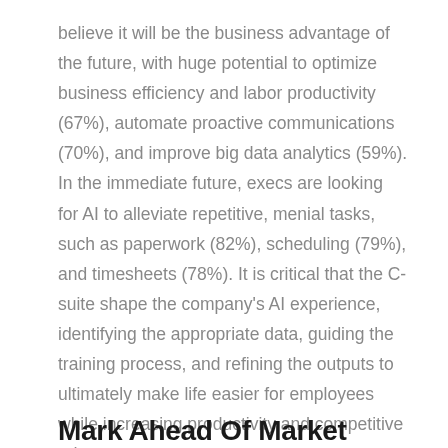believe it will be the business advantage of the future, with huge potential to optimize business efficiency and labor productivity (67%), automate proactive communications (70%), and improve big data analytics (59%). In the immediate future, execs are looking for AI to alleviate repetitive, menial tasks, such as paperwork (82%), scheduling (79%), and timesheets (78%). It is critical that the C-suite shape the company's AI experience, identifying the appropriate data, guiding the training process, and refining the outputs to ultimately make life easier for employees while increasing productivity and competitive edge.
Mark Advanced Of Market